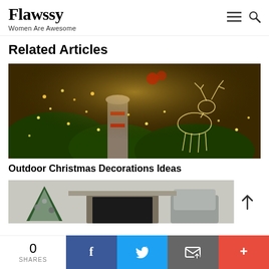Flawssy — Women Are Awesome
Related Articles
[Figure (photo): Outdoor Christmas decorations at night: illuminated wire reindeer figure on right, stone pedestal wrapped with red ribbon and garlands with warm fairy lights, lush green foliage and shrubbery lit with string lights]
Outdoor Christmas Decorations Ideas
[Figure (photo): Indoor Christmas scene with snow-flocked Christmas tree with ornaments, fireplace mantle, and a grey upholstered chair]
0 SHARES
Facebook share button, Twitter share button, Email share button, More share button